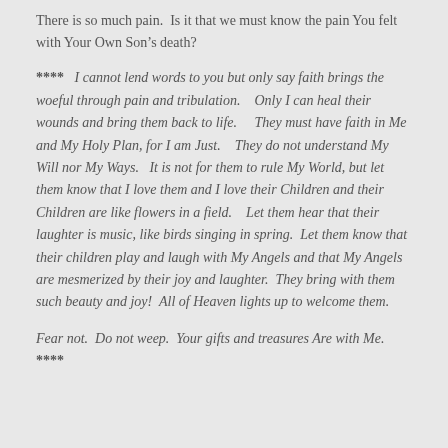There is so much pain.  Is it that we must know the pain You felt with Your Own Son’s death?
****  I cannot lend words to you but only say faith brings the woeful through pain and tribulation.   Only I can heal their wounds and bring them back to life.    They must have faith in Me and My Holy Plan, for I am Just.   They do not understand My Will nor My Ways.   It is not for them to rule My World, but let them know that I love them and I love their Children and their Children are like flowers in a field.   Let them hear that their laughter is music, like birds singing in spring.  Let them know that their children play and laugh with My Angels and that My Angels are mesmerized by their joy and laughter.  They bring with them such beauty and joy!  All of Heaven lights up to welcome them.
Fear not.  Do not weep.  Your gifts and treasures Are with Me.  ****